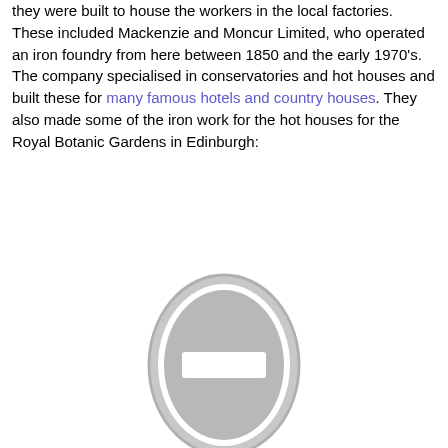they were built to house the workers in the local factories. These included Mackenzie and Moncur Limited, who operated an iron foundry from here between 1850 and the early 1970's. The company specialised in conservatories and hot houses and built these for many famous hotels and country houses. They also made some of the iron work for the hot houses for the Royal Botanic Gardens in Edinburgh:
[Figure (other): A grey oval/ellipse shape with a white rectangle in the center, resembling a placeholder or missing image icon.]